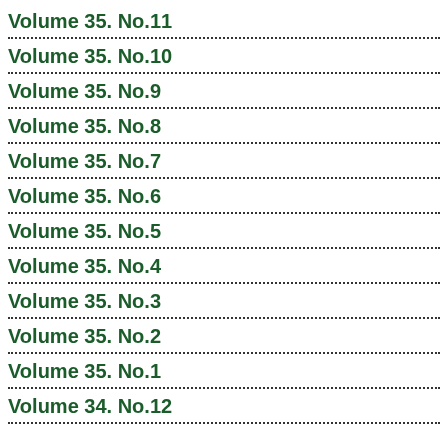Volume 35. No.11
Volume 35. No.10
Volume 35. No.9
Volume 35. No.8
Volume 35. No.7
Volume 35. No.6
Volume 35. No.5
Volume 35. No.4
Volume 35. No.3
Volume 35. No.2
Volume 35. No.1
Volume 34. No.12